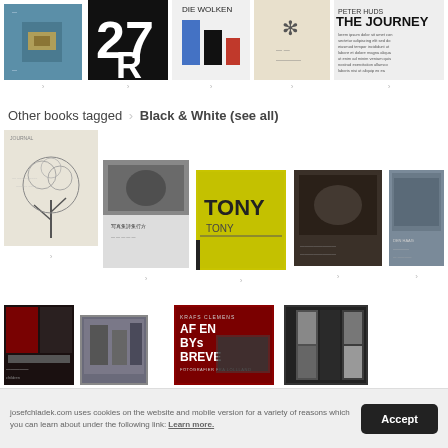[Figure (illustration): Row of 5 book covers at top of page with navigation arrows below each]
Other books tagged > Black & White (see all)
[Figure (illustration): Grid of book covers tagged Black & White - row 1: tree illustration book, Japanese photo book, TONY book (yellow), dark photo book, grey photo book]
[Figure (illustration): Grid of book covers tagged Black & White - row 2: dark architectural book, urban street book, AF EN BYs BREVE red book, black and white door/window photo book]
josefchladek.com uses cookies on the website and mobile version for a variety of reasons which you can learn about under the following link: Learn more.
Accept